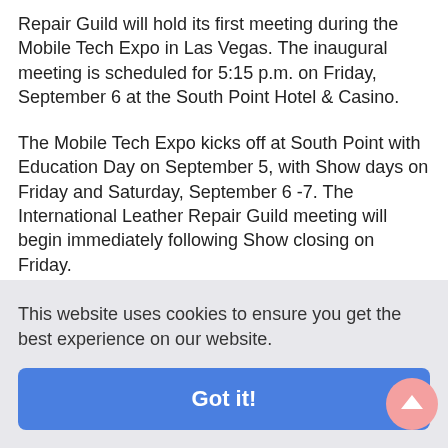Repair Guild will hold its first meeting during the Mobile Tech Expo in Las Vegas. The inaugural meeting is scheduled for 5:15 p.m. on Friday, September 6 at the South Point Hotel & Casino.
The Mobile Tech Expo kicks off at South Point with Education Day on September 5, with Show days on Friday and Saturday, September 6 -7. The International Leather Repair Guild meeting will begin immediately following Show closing on Friday.
According to meeting organizer Dean... the gathering is open to all industry pros with related experience or who are interested in learning about leather/interior restoration are invited to attend.
This website uses cookies to ensure you get the best experience on our website.
Got it!